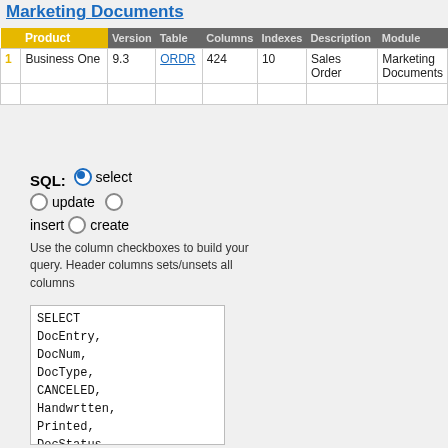Marketing Documents
| Product | Version | Table | Columns | Indexes | Description | Module |
| --- | --- | --- | --- | --- | --- | --- |
| 1 | Business One | 9.3 | ORDR | 424 | 10 | Sales Order | Marketing Documents |
SQL: ● select ○ update ○ insert ○ create
Use the column checkboxes to build your query. Header columns sets/unsets all columns
SELECT
DocEntry,
DocNum,
DocType,
CANCELED,
Handwrtten,
Printed,
DocStatus,
InvntSttus,
Transfered,
ObjType,
DocDate,
DocDueDate,
CardCode,